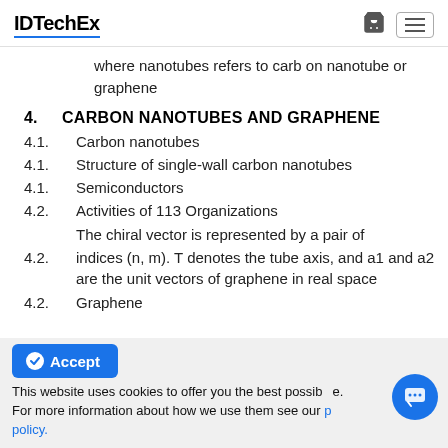IDTechEx
where nanotubes refers to carb on nanotube or graphene
4. CARBON NANOTUBES AND GRAPHENE
4.1. Carbon nanotubes
4.1. Structure of single-wall carbon nanotubes
4.1. Semiconductors
4.2. Activities of 113 Organizations
4.2. The chiral vector is represented by a pair of indices (n, m). T denotes the tube axis, and a1 and a2 are the unit vectors of graphene in real space
4.2. Graphene
This website uses cookies to offer you the best possible. For more information about how we use them see our privacy policy.